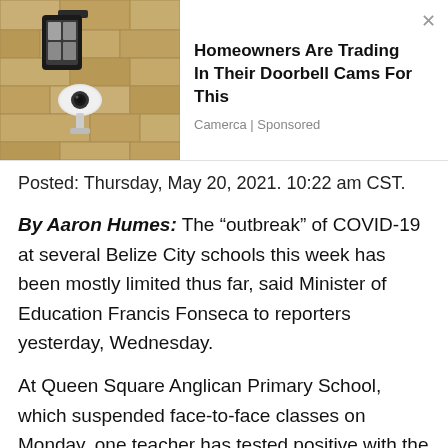[Figure (photo): Advertisement banner with a photo of an outdoor security camera on a stone wall on the left, and ad text on the right reading 'Homeowners Are Trading In Their Doorbell Cams For This' by Camerca | Sponsored, with an X close button]
Posted: Thursday, May 20, 2021. 10:22 am CST.
By Aaron Humes: The “outbreak” of COVID-19 at several Belize City schools this week has been mostly limited thus far, said Minister of Education Francis Fonseca to reporters yesterday, Wednesday.
At Queen Square Anglican Primary School, which suspended face-to-face classes on Monday, one teacher has tested positive with the rapid test but is awaiting the results of the PCR test; but students who came into contact with her and other teachers at the school have been tested and the results are uniformly